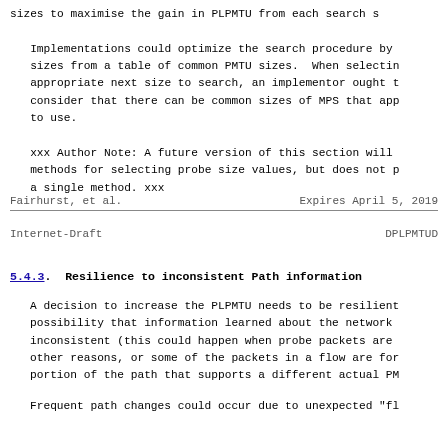sizes to maximise the gain in PLPMTU from each search s
Implementations could optimize the search procedure by sizes from a table of common PMTU sizes.  When selectin appropriate next size to search, an implementor ought t consider that there can be common sizes of MPS that app to use.
xxx Author Note: A future version of this section will methods for selecting probe size values, but does not p a single method. xxx
Fairhurst, et al.          Expires April 5, 2019
Internet-Draft                         DPLPMTUD
5.4.3.  Resilience to inconsistent Path information
A decision to increase the PLPMTU needs to be resilient possibility that information learned about the network inconsistent (this could happen when probe packets are other reasons, or some of the packets in a flow are for portion of the path that supports a different actual PM
Frequent path changes could occur due to unexpected "fl